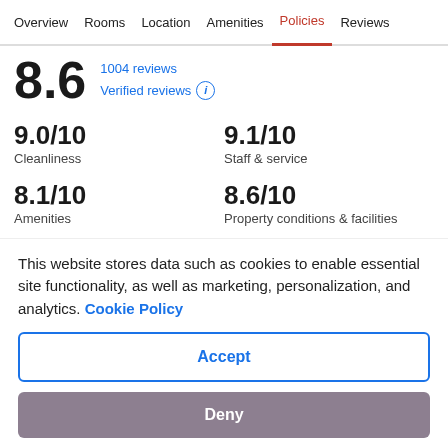Overview  Rooms  Location  Amenities  Policies  Reviews
8.6
1004 reviews
Verified reviews
9.0/10
Cleanliness
9.1/10
Staff & service
8.1/10
Amenities
8.6/10
Property conditions & facilities
8.5/10
This website stores data such as cookies to enable essential site functionality, as well as marketing, personalization, and analytics. Cookie Policy
Accept
Deny